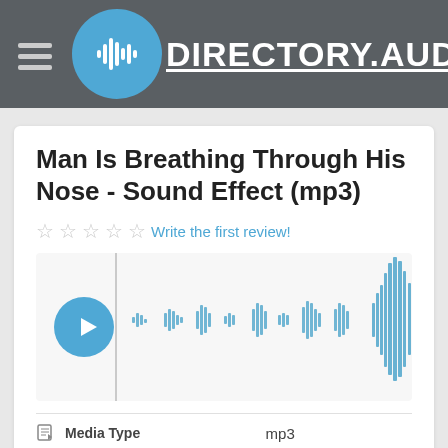[Figure (logo): Directory.Audio website logo with blue circle audio waveform icon and text DIRECTORY.AUDIO]
Man Is Breathing Through His Nose - Sound Effect (mp3)
☆ ☆ ☆ ☆ ☆ Write the first review!
[Figure (other): Audio waveform player with play button and waveform visualization in blue]
| Media Type | mp3 |
| --- | --- |
| Bitrate | 320 Kbps |